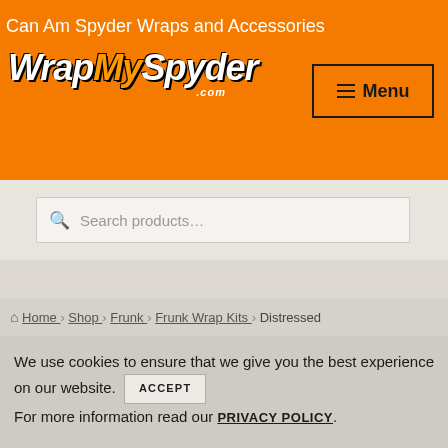Can Am Spyder Wraps and Accessories
[Figure (logo): WrapMySpyder.com logo in italic bold white and orange font on orange background]
[Figure (other): Menu button with hamburger icon and 'Menu' label]
Search products…
Home › Shop › Frunk › Frunk Wrap Kits › Distressed
We use cookies to ensure that we give you the best experience on our website. ACCEPT For more information read our PRIVACY POLICY.